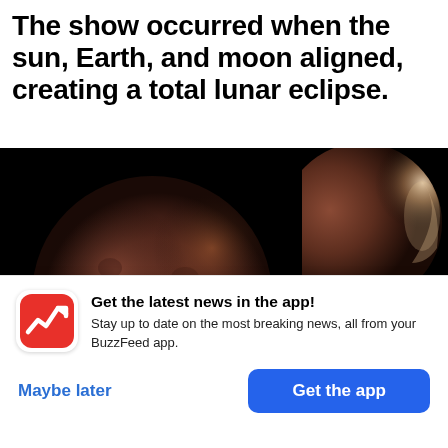The show occurred when the sun, Earth, and moon aligned, creating a total lunar eclipse.
[Figure (photo): Two side-by-side photos of a blood moon (total lunar eclipse) against a black sky. Left: large close-up of a reddish-brown moon. Top right: moon with bright crescent glare on right edge. Bottom right: partially visible sliver of bright light.]
Get the latest news in the app! Stay up to date on the most breaking news, all from your BuzzFeed app.
Maybe later
Get the app